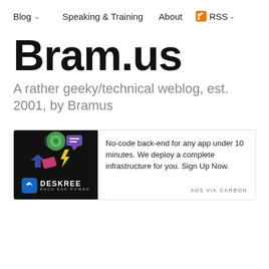Blog  Speaking & Training  About  RSS
Bram.us
A rather geeky/technical weblog, est. 2001, by Bramus
[Figure (infographic): Deskree advertisement: dark background with colorful tech icons and Deskree logo on the left, ad text on the right reading 'No-code back-end for any app under 10 minutes. We deploy a complete infrastructure for you. Sign Up Now.' with 'ADS VIA CARBON' attribution.]